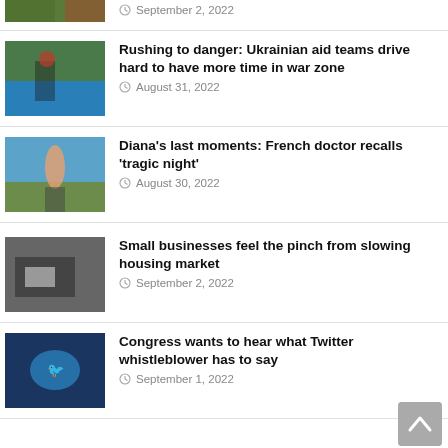[Figure (photo): Partial article thumbnail at top]
September 2, 2022
[Figure (photo): Person in red near blue structure]
Rushing to danger: Ukrainian aid teams drive hard to have more time in war zone
August 31, 2022
[Figure (photo): Person walking on rocky coastline]
Diana's last moments: French doctor recalls 'tragic night'
August 30, 2022
[Figure (photo): Person working on machinery]
Small businesses feel the pinch from slowing housing market
September 2, 2022
[Figure (photo): Twitter logo on building]
Congress wants to hear what Twitter whistleblower has to say
September 1, 2022